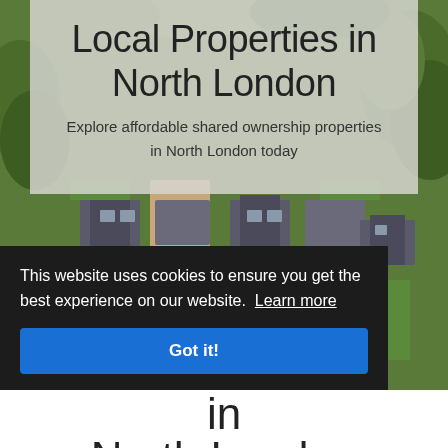[Figure (photo): Aerial drone photograph of a residential housing development in North London, showing rooftops, driveways, parked cars, and surrounding green trees.]
Local Properties in North London
Explore affordable shared ownership properties in North London today
This website uses cookies to ensure you get the best experience on our website. Learn more
Got it!
in North London